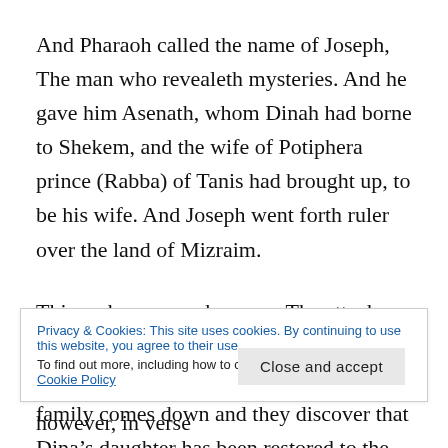And Pharaoh called the name of Joseph, The man who revealeth mysteries. And he gave him Asenath, whom Dinah had borne to Shekem, and the wife of Potiphera prince (Rabba) of Tanis had brought up, to be his wife. And Joseph went forth ruler over the land of Mizraim.
This makes so much sense.  The attack on Dina, terrible when it happened,  ends up being for the good.  Imagine the joy of the family comes down and they discover that Dina's daughter has been restored to the family.   The
Privacy & Cookies: This site uses cookies. By continuing to use this website, you agree to their use.
To find out more, including how to control cookies, see here: Cookie Policy
Close and accept
Yoset is asked to interpret the dream, however, in verse